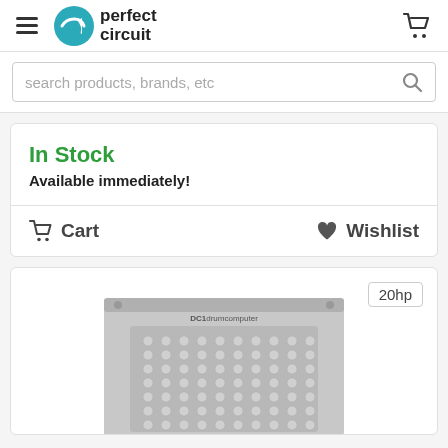[Figure (logo): Perfect Circuit logo with teal arrow icon and 'perfect circuit' text]
search products, brands, etc
In Stock
Available immediately!
Cart
Wishlist
20hp
[Figure (photo): DC1 drumcomputer Eurorack module panel with grid of circular buttons on gray faceplate]